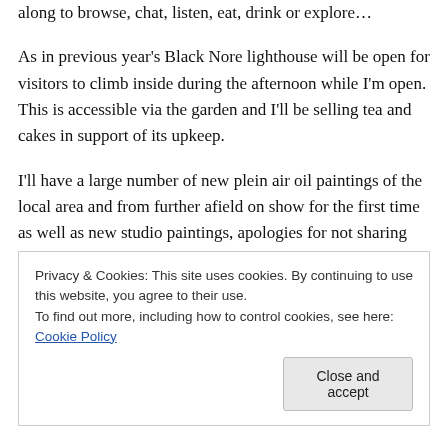along to browse, chat, listen, eat, drink or explore…
As in previous year's Black Nore lighthouse will be open for visitors to climb inside during the afternoon while I'm open. This is accessible via the garden and I'll be selling tea and cakes in support of its upkeep.
I'll have a large number of new plein air oil paintings of the local area and from further afield on show for the first time as well as new studio paintings, apologies for not sharing more on the blog recently. Much of my new work is exploring the fast changing light at dawn and dusk.
Privacy & Cookies: This site uses cookies. By continuing to use this website, you agree to their use.
To find out more, including how to control cookies, see here: Cookie Policy
Close and accept